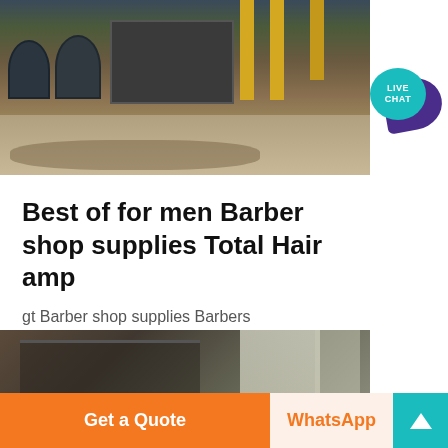[Figure (photo): Industrial machinery/equipment scene with heavy machinery, yellow pillars, and debris on the ground]
Best of for men Barber shop supplies Total Hair amp
gt Barber shop supplies Barbers
[Figure (photo): Industrial interior with structural elements and light coming through windows]
[Figure (infographic): Live Chat bubble icon — teal circle with LIVE CHAT text and purple speech bubble behind]
Get a Quote
WhatsApp